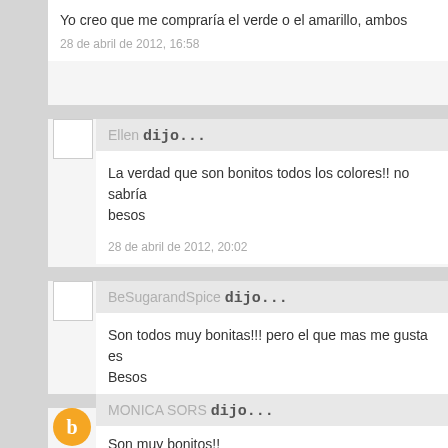Yo creo que me compraría el verde o el amarillo, ambos
28 de abril de 2012, 16:58
Ellen dijo...
La verdad que son bonitos todos los colores!! no sabría
besos
28 de abril de 2012, 20:02
BeSugarandSpice dijo...
Son todos muy bonitas!!! pero el que mas me gusta es
Besos
29 de abril de 2012, 1:25
MONICA SORS dijo...
Son muy bonitos!!